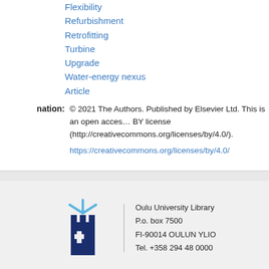Flexibility
Refurbishment
Retrofitting
Turbine
Upgrade
Water-energy nexus
Article
© 2021 The Authors. Published by Elsevier Ltd. This is an open access article under the CC BY license (http://creativecommons.org/licenses/by/4.0/).
https://creativecommons.org/licenses/by/4.0/
[Figure (logo): Oulu University logo: dark blue castle/cross symbol with light blue rays above it]
Oulu University Library
P.o. box 7500
FI-90014 OULUN YLIO
Tel. +358 294 48 0000